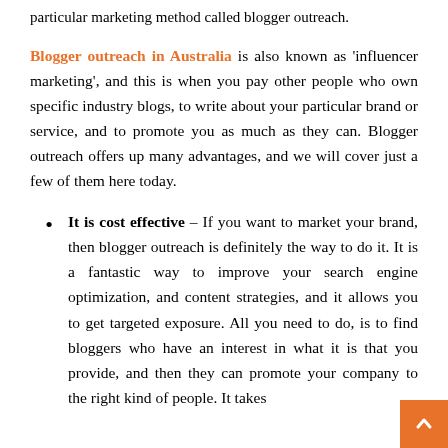particular marketing method called blogger outreach.
Blogger outreach in Australia is also known as 'influencer marketing', and this is when you pay other people who own specific industry blogs, to write about your particular brand or service, and to promote you as much as they can. Blogger outreach offers up many advantages, and we will cover just a few of them here today.
It is cost effective – If you want to market your brand, then blogger outreach is definitely the way to do it. It is a fantastic way to improve your search engine optimization, and content strategies, and it allows you to get targeted exposure. All you need to do, is to find bloggers who have an interest in what it is that you provide, and then they can promote your company to the right kind of people. It takes